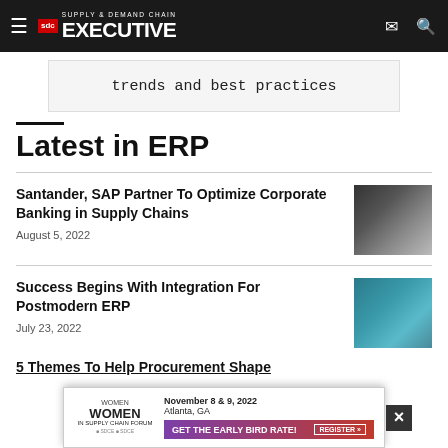Supply & Demand Chain Executive
[Figure (screenshot): Advertisement banner showing 'trends and best practices' text]
Latest in ERP
Santander, SAP Partner To Optimize Corporate Banking in Supply Chains
August 5, 2022
Success Begins With Integration For Postmodern ERP
July 23, 2022
5 Themes To Help Procurement Shape
[Figure (photo): Advertisement for Women In Supply Chain Forum - November 8 & 9, 2022, Atlanta, GA - Get The Early Bird Rate! Register button]